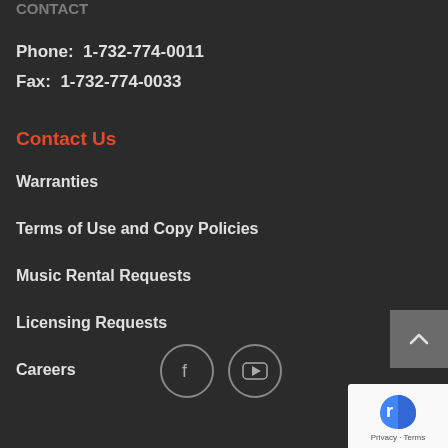CONTACT
Phone:  1-732-774-0011
Fax:  1-732-774-0033
Contact Us
Warranties
Terms of Use and Copy Policies
Music Rental Requests
Licensing Requests
Careers
[Figure (other): Facebook and YouTube social media icon circles]
[Figure (other): Scroll to top button with upward arrow]
[Figure (other): Google reCAPTCHA badge with Privacy and Terms links]